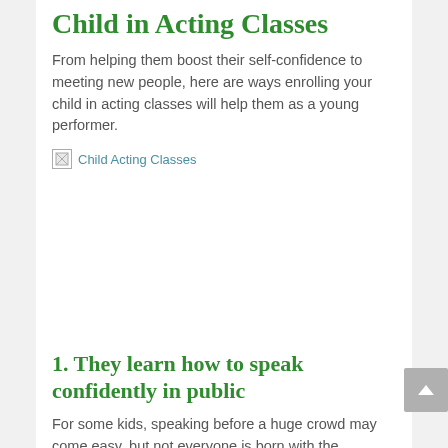Child in Acting Classes
From helping them boost their self-confidence to meeting new people, here are ways enrolling your child in acting classes will help them as a young performer.
[Figure (photo): Broken image placeholder with alt text 'Child Acting Classes']
1. They learn how to speak confidently in public
For some kids, speaking before a huge crowd may come easy, but not everyone is born with the